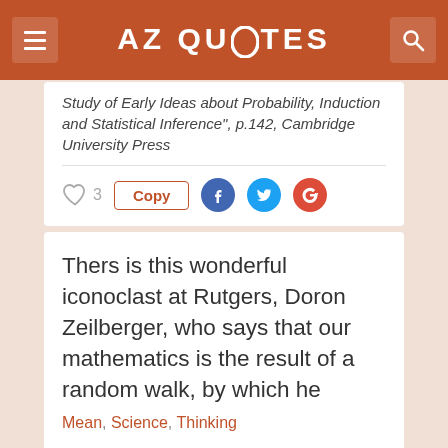AZ QUOTES
Study of Early Ideas about Probability, Induction and Statistical Inference", p.142, Cambridge University Press
Thers is this wonderful iconoclast at Rutgers, Doron Zeilberger, who says that our mathematics is the result of a random walk, by which he means what WE call mathematics. Likewise, I think, for the sciences.
Ian Hacking
Mean, Science, Thinking